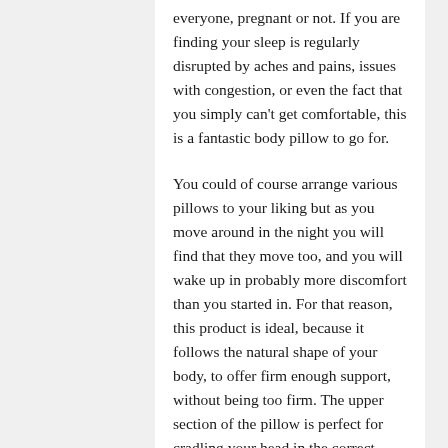everyone, pregnant or not. If you are finding your sleep is regularly disrupted by aches and pains, issues with congestion, or even the fact that you simply can't get comfortable, this is a fantastic body pillow to go for.
You could of course arrange various pillows to your liking but as you move around in the night you will find that they move too, and you will wake up in probably more discomfort than you started in. For that reason, this product is ideal, because it follows the natural shape of your body, to offer firm enough support, without being too firm. The upper section of the pillow is perfect for cradling your head in the correct position